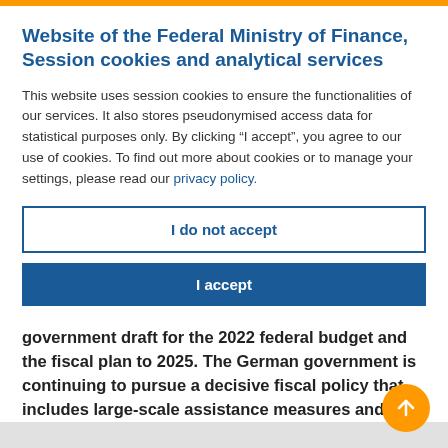Website of the Federal Ministry of Finance, Session cookies and analytical services
This website uses session cookies to ensure the functionalities of our services. It also stores pseudonymised access data for statistical purposes only. By clicking “I accept”, you agree to our use of cookies. To find out more about cookies or to manage your settings, please read our privacy policy.
I do not accept
I accept
government draft for the 2022 federal budget and the fiscal plan to 2025. The German government is continuing to pursue a decisive fiscal policy that includes large-scale assistance measures and